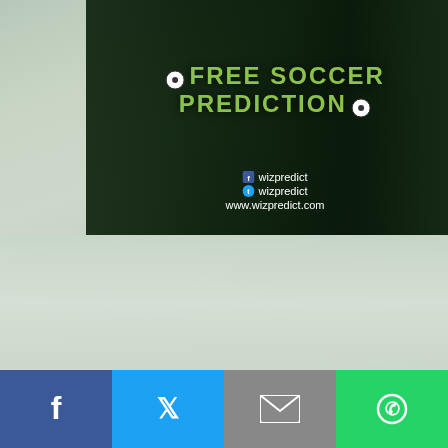[Figure (photo): Free Soccer Prediction promotional image with two players/figures on a dark green background, social media handles wizpredict shown, and website www.wizpredict.com]
| Country | League |
| --- | --- |
| England | Premier League |
| England | Premier League |
| England | Premier League |
| England | Championship |
| England | Championship |
| England | Championship |
[Figure (infographic): Social share bar with Facebook (blue), Twitter (blue), Email (grey), and WhatsApp (green) buttons]